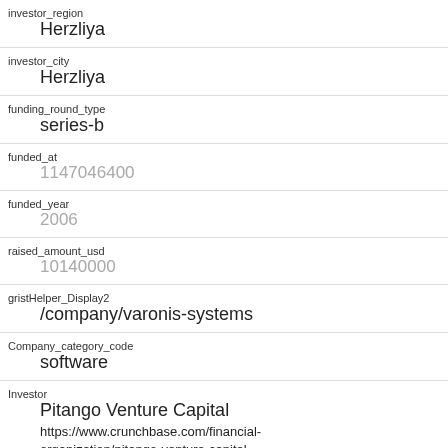| field | value |
| --- | --- |
| investor_region | Herzliya |
| investor_city | Herzliya |
| funding_round_type | series-b |
| funded_at | 1147046400 |
| funded_year | 2006 |
| raised_amount_usd | 10140000 |
| gristHelper_Display2 | /company/varonis-systems |
| Company_category_code | software |
| Investor | Pitango Venture Capital
https://www.crunchbase.com/financial-organization/pitango-venture-capital |